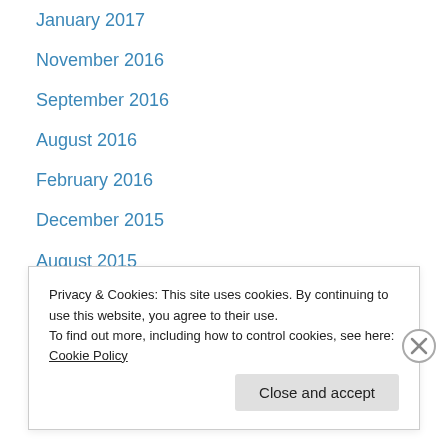January 2017
November 2016
September 2016
August 2016
February 2016
December 2015
August 2015
July 2015
May 2015
April 2015
March 2015
February 2015
January 2015
Privacy & Cookies: This site uses cookies. By continuing to use this website, you agree to their use. To find out more, including how to control cookies, see here: Cookie Policy
Close and accept